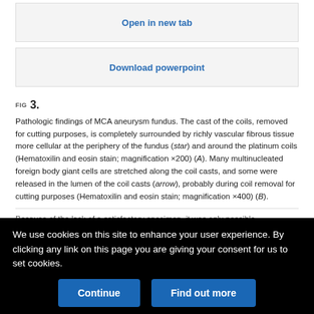Open in new tab
Download powerpoint
FIG 3.
Pathologic findings of MCA aneurysm fundus. The cast of the coils, removed for cutting purposes, is completely surrounded by richly vascular fibrous tissue more cellular at the periphery of the fundus (star) and around the platinum coils (Hematoxilin and eosin stain; magnification ×200) (A). Many multinucleated foreign body giant cells are stretched along the coil casts, and some were released in the lumen of the coil casts (arrow), probably during coil removal for cutting purposes (Hematoxilin and eosin stain; magnification ×400) (B).
Because of the lack of a satisfactory specimen, it was only possible
We use cookies on this site to enhance your user experience. By clicking any link on this page you are giving your consent for us to set cookies.